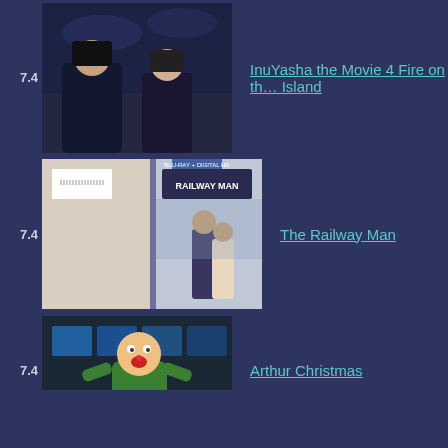7.4
[Figure (photo): Anime movie poster for InuYasha the Movie 4 Fire on the Island]
InuYasha the Movie 4 Fire on the Island
7.4
[Figure (photo): DVD cover for The Railway Man]
The Railway Man
7.4
[Figure (photo): Animated movie poster for Arthur Christmas]
Arthur Christmas
7.4
[Figure (photo): Movie poster for Harishchandrachi Factory]
Harishchandrachi Factory
7.4
[Figure (photo): Movie poster for Top Gun]
Top Gun